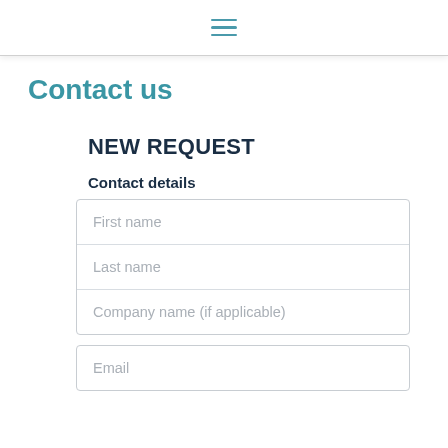hamburger menu icon
Contact us
NEW REQUEST
Contact details
First name
Last name
Company name (if applicable)
Email